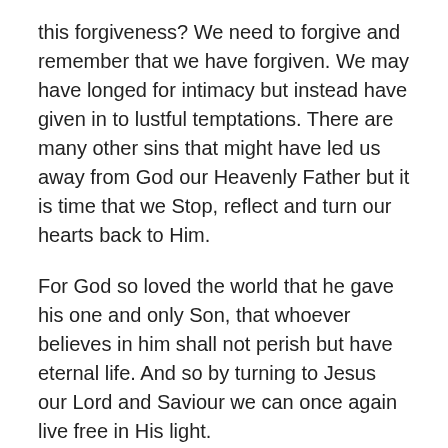this forgiveness? We need to forgive and remember that we have forgiven. We may have longed for intimacy but instead have given in to lustful temptations. There are many other sins that might have led us away from God our Heavenly Father but it is time that we Stop, reflect and turn our hearts back to Him.
For God so loved the world that he gave his one and only Son, that whoever believes in him shall not perish but have eternal life. And so by turning to Jesus our Lord and Saviour we can once again live free in His light.
“Here I am God, I give myself to You.  Unto You, O Lord, do I lay down my entire life. I lay it before You on Your altar.  Do as You please with me.  Speak through me today.  Touch people through me today.  Place me in a position to meet all